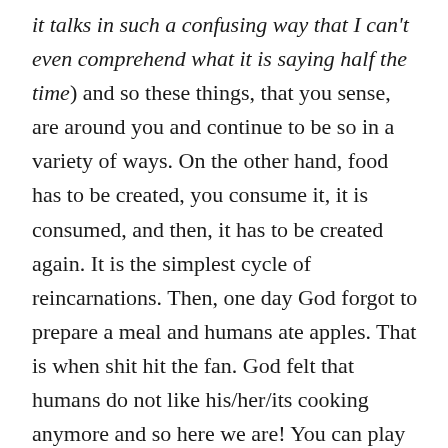it talks in such a confusing way that I can't even comprehend what it is saying half the time) and so these things, that you sense, are around you and continue to be so in a variety of ways. On the other hand, food has to be created, you consume it, it is consumed, and then, it has to be created again. It is the simplest cycle of reincarnations. Then, one day God forgot to prepare a meal and humans ate apples. That is when shit hit the fan. God felt that humans do not like his/her/its cooking anymore and so here we are! You can play the blame game all you like, but you have to eat to live. It is not anybody's fault; it just happened. Now, whenever something that you eat